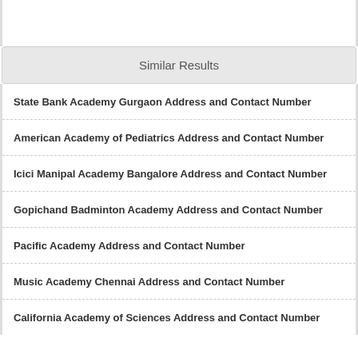Similar Results
State Bank Academy Gurgaon Address and Contact Number
American Academy of Pediatrics Address and Contact Number
Icici Manipal Academy Bangalore Address and Contact Number
Gopichand Badminton Academy Address and Contact Number
Pacific Academy Address and Contact Number
Music Academy Chennai Address and Contact Number
California Academy of Sciences Address and Contact Number